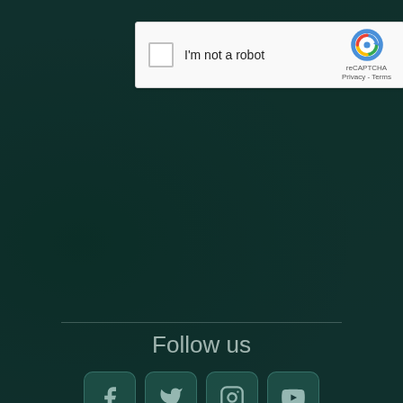[Figure (screenshot): reCAPTCHA widget with checkbox labeled 'I'm not a robot' and reCAPTCHA logo with Privacy and Terms links]
[Figure (screenshot): Send button with gradient background from blue to teal]
Follow us
[Figure (infographic): Social media icons row: Facebook, Twitter, Instagram, YouTube]